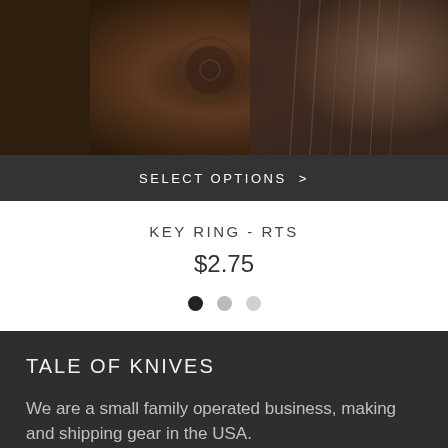[Figure (photo): Close-up photo of a leather/metal product (key ring) with dark brown textured surface and rope/cord material]
SELECT OPTIONS >
KEY RING - RTS
$2.75
TALE OF KNIVES
We are a small family operated business, making and shipping gear in the USA.
Leather goods crafted the American way, traditionally made by hand, one item at a time